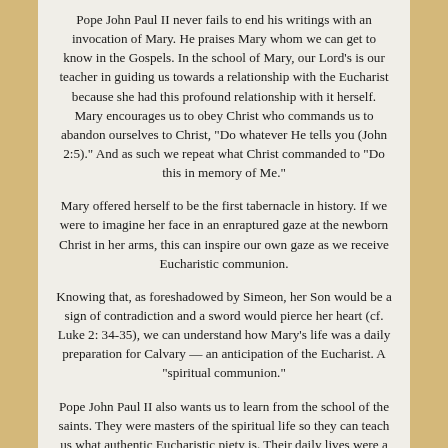Pope John Paul II never fails to end his writings with an invocation of Mary. He praises Mary whom we can get to know in the Gospels. In the school of Mary, our Lord's is our teacher in guiding us towards a relationship with the Eucharist because she had this profound relationship with it herself. Mary encourages us to obey Christ who commands us to abandon ourselves to Christ, "Do whatever He tells you (John 2:5)." And as such we repeat what Christ commanded to "Do this in memory of Me."
Mary offered herself to be the first tabernacle in history. If we were to imagine her face in an enraptured gaze at the newborn Christ in her arms, this can inspire our own gaze as we receive Eucharistic communion.
Knowing that, as foreshadowed by Simeon, her Son would be a sign of contradiction and a sword would pierce her heart (cf. Luke 2: 34-35), we can understand how Mary's life was a daily preparation for Calvary — an anticipation of the Eucharist. A "spiritual communion."
Pope John Paul II also wants us to learn from the school of the saints. They were masters of the spiritual life so they can teach us what authentic Eucharistic piety is. Their daily lives were a witness to what it means when we say that the